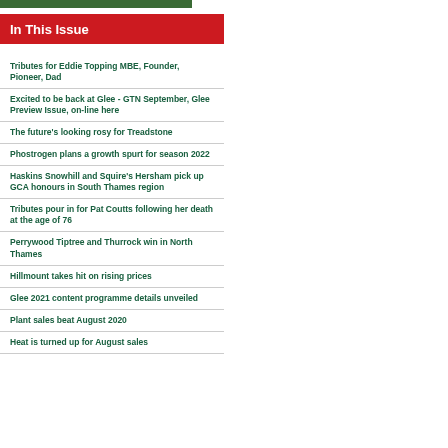In This Issue
Tributes for Eddie Topping MBE, Founder, Pioneer, Dad
Excited to be back at Glee - GTN September, Glee Preview Issue, on-line here
The future's looking rosy for Treadstone
Phostrogen plans a growth spurt for season 2022
Haskins Snowhill and Squire's Hersham pick up GCA honours in South Thames region
Tributes pour in for Pat Coutts following her death at the age of 76
Perrywood Tiptree and Thurrock win in North Thames
Hillmount takes hit on rising prices
Glee 2021 content programme details unveiled
Plant sales beat August 2020
Heat is turned up for August sales